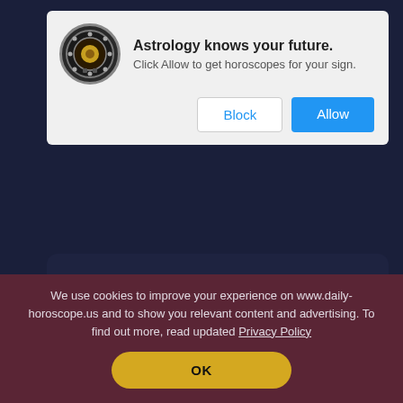[Figure (screenshot): Browser notification permission dialog with astrology app icon, title 'Astrology knows your future.', subtitle 'Click Allow to get horoscopes for your sign.', and two buttons: Block and Allow]
You may attract wealth...but first you should solve these problems.
FIND OUT MORE →
[Figure (photo): Silhouette of a person against a sunset sky with dramatic clouds, orange and blue tones]
We use cookies to improve your experience on www.daily-horoscope.us and to show you relevant content and advertising. To find out more, read updated Privacy Policy
OK